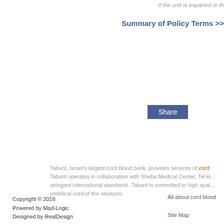if the unit is impaired or th
Summary of Policy Terms >>
[Figure (other): Share button - blue rectangular button with white text 'Share']
Taburit, Israel's largest cord blood bank, provides services of cord... Taburit operates in collaboration with Sheba Medical Center, Tel H... stringent international standards. Taburit is committed to high qual... umbilical cord of the newborn.
Copyright © 2016
Powered by Mad-Logic
Designed by RealDesign
All about cord blood

Site Map